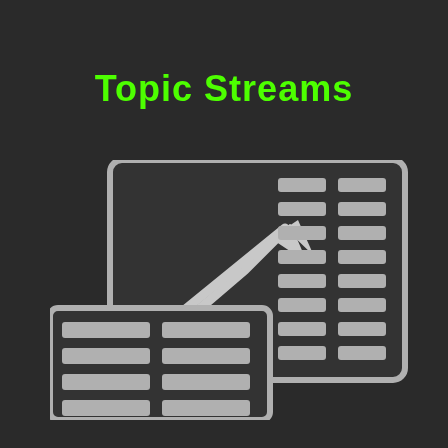Topic Streams
[Figure (illustration): Icon illustration of a financial chart with an upward trending line/arrow and two overlapping table/grid panels on a dark background, rendered in light gray outline style.]